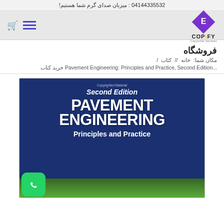04144335532 : میزبان صدای گرم شما هستیم!
فروشگاه
مکان شما: خانه // کتاب /
خرید کتاب Pavement Engineering: Principles and Practice, Second Edition...
[Figure (photo): Book cover of Pavement Engineering: Principles and Practice, Second Edition. Blue background with large white bold text showing the title and subtitle. Small text at top says 'Copyrighted Material'. Below the title text is a landscape nature photo strip.]